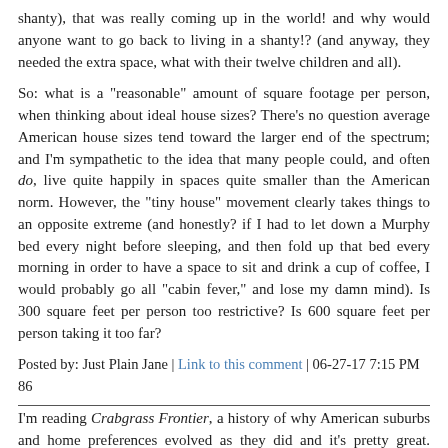shanty), that was really coming up in the world! and why would anyone want to go back to living in a shanty!? (and anyway, they needed the extra space, what with their twelve children and all).
So: what is a "reasonable" amount of square footage per person, when thinking about ideal house sizes? There's no question average American house sizes tend toward the larger end of the spectrum; and I'm sympathetic to the idea that many people could, and often do, live quite happily in spaces quite smaller than the American norm. However, the "tiny house" movement clearly takes things to an opposite extreme (and honestly? if I had to let down a Murphy bed every night before sleeping, and then fold up that bed every morning in order to have a space to sit and drink a cup of coffee, I would probably go all "cabin fever," and lose my damn mind). Is 300 square feet per person too restrictive? Is 600 square feet per person taking it too far?
Posted by: Just Plain Jane | Link to this comment | 06-27-17 7:15 PM
86
I'm reading Crabgrass Frontier, a history of why American suburbs and home preferences evolved as they did and it's pretty great. Though I realize as I write this that
I'm going to actually read Return to Gone-Away, about aa family rehabilitating a Victorian mansion. I blame the strep.